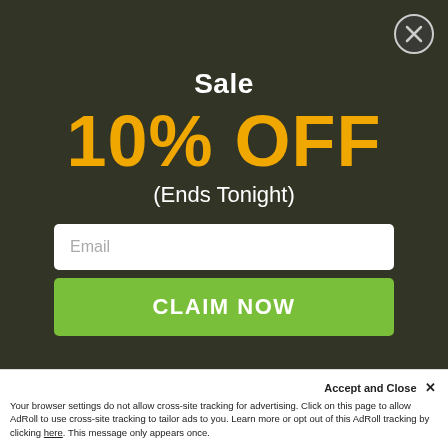Sale
10% OFF
(Ends Tonight)
Email
CLAIM NOW
Accept and Close ✕
Your browser settings do not allow cross-site tracking for advertising. Click on this page to allow AdRoll to use cross-site tracking to tailor ads to you. Learn more or opt out of this AdRoll tracking by clicking here. This message only appears once.